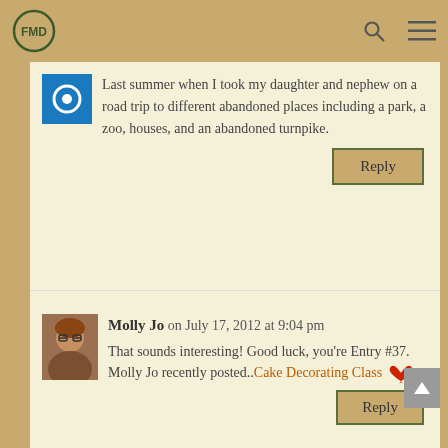FMD logo header with search and menu icons
Last summer when I took my daughter and nephew on a road trip to different abandoned places including a park, a zoo, houses, and an abandoned turnpike.
Reply
Molly Jo on July 17, 2012 at 9:04 pm
That sounds interesting! Good luck, you're Entry #37.
Molly Jo recently posted..Cake Decorating Class